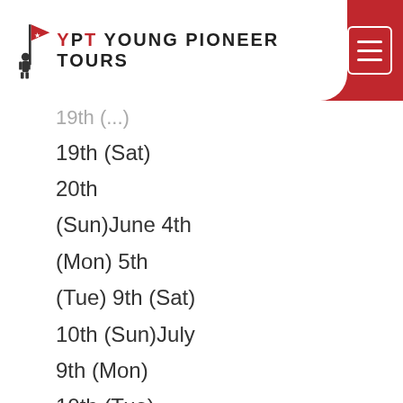YPT Young Pioneer Tours
19th (...)
19th (Sat)
20th
(Sun)June 4th
(Mon) 5th
(Tue) 9th (Sat)
10th (Sun)July
9th (Mon)
10th (Tue)
14th (Sat)
15th (Sun)JS
(Air Koryo)
Pyongyang – Kuala Lumpur
€400 each